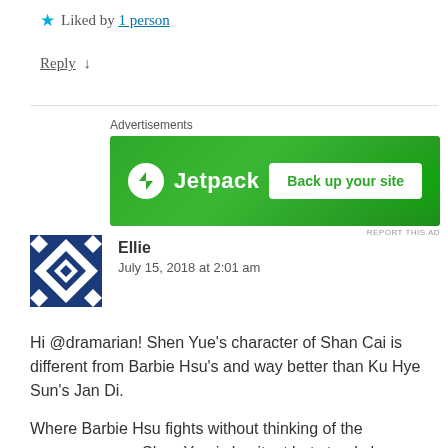★ Liked by 1 person
Reply ↓
[Figure (other): Jetpack advertisement banner with green background showing Jetpack logo and 'Back up your site' button]
REPORT THIS AD
[Figure (other): User avatar for commenter Ellie - blue and white geometric pattern]
Ellie
July 15, 2018 at 2:01 am
Hi @dramarian! Shen Yue's character of Shan Cai is different from Barbie Hsu's and way better than Ku Hye Sun's Jan Di.

Where Barbie Hsu fights without thinking of the consequences, Shen Yue is hesitant but stands her ground. Barbie's eyes could kill Ah Si back then. Now Yue's eyes